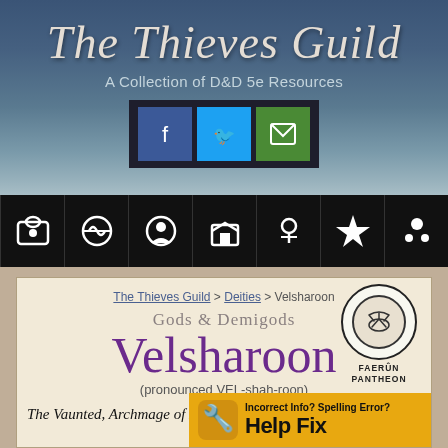The Thieves Guild — A Collection of D&D 5e Resources
The Thieves Guild
A Collection of D&D 5e Resources
[Figure (infographic): Navigation bar with social media icons (Facebook, Twitter, Email) and site navigation icons]
The Thieves Guild > Deities > Velsharoon
[Figure (logo): Faerûn Pantheon badge — circular emblem with bird/phoenix symbol, labeled FAERÛN PANTHEON]
Gods & Demigods
Velsharoon
(pronounced VEL-shah-roon)
The Vaunted, Archmage of Necromancy, Lord of the Forsaken
Demi...
[Figure (infographic): Help Fix banner: orange bar with wrench/hammer icon and text 'Incorrect Info? Spelling Error? Help Fix']